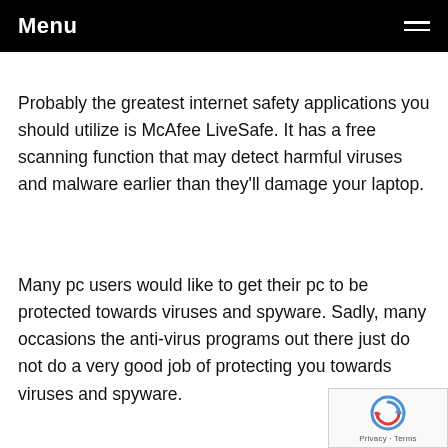Menu
Probably the greatest internet safety applications you should utilize is McAfee LiveSafe. It has a free scanning function that may detect harmful viruses and malware earlier than they'll damage your laptop.
Many pc users would like to get their pc to be protected towards viruses and spyware. Sadly, many occasions the anti-virus programs out there just do not do a very good job of protecting you towards viruses and spyware.
[Figure (logo): reCAPTCHA badge with circular arrow logo and Privacy - Terms text]